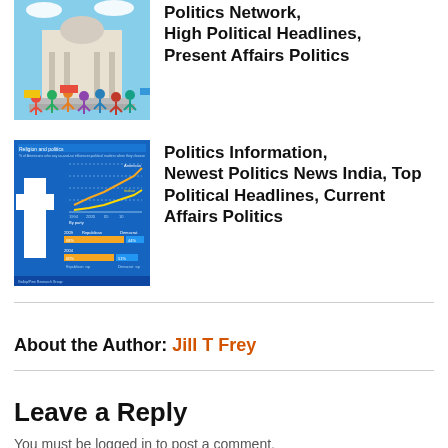[Figure (illustration): Colorful cartoon illustration of people protesting in front of a government building with a dome.]
Politics Network, High Political Headlines, Present Affairs Politics
[Figure (infographic): Religion and politics infographic showing line charts and bar charts on a blue background with a cross monument.]
Politics Information, Newest Politics News India, Top Political Headlines, Current Affairs Politics
About the Author: Jill T Frey
Leave a Reply
You must be logged in to post a comment.